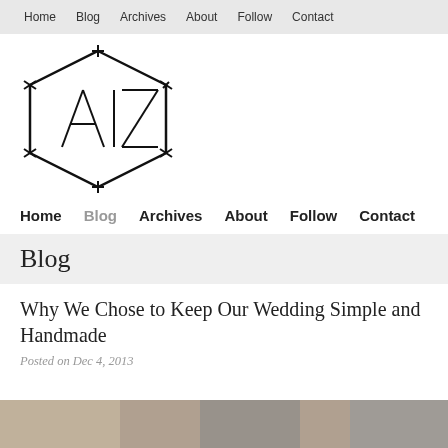Home  Blog  Archives  About  Follow  Contact
[Figure (logo): A|Z logo: hexagonal geometric shape with 'A|Z' text inside, drawn with thin black lines]
Home  Blog  Archives  About  Follow  Contact
Blog
Why We Chose to Keep Our Wedding Simple and Handmade
Posted on Dec 4, 2013
[Figure (photo): Partial view of a wedding photo at the bottom of the page]